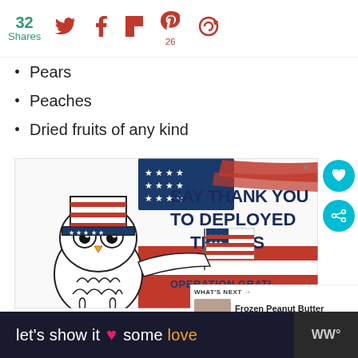32 Shares | Twitter | Facebook | Flipboard | Pinterest 26 | Follow
Pears
Peaches
Dried fruits of any kind
[Figure (illustration): Advertisement for Operation Gratitude showing a cartoon owl wearing Uncle Sam hat and holding a US flag against a patriotic background. Text reads: SAY THANK YOU TO DEPLOYED TROOPS. Operation Gratitude logo at bottom.]
let's show it some love | WW logo